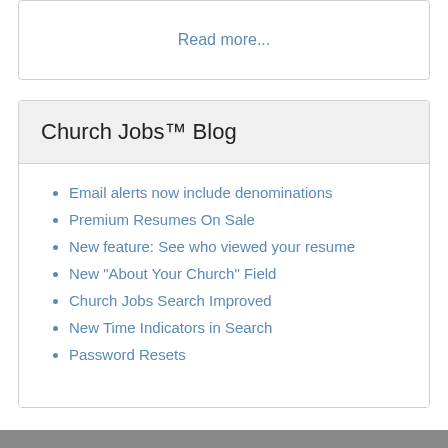Read more...
Church Jobs™ Blog
Email alerts now include denominations
Premium Resumes On Sale
New feature: See who viewed your resume
New "About Your Church" Field
Church Jobs Search Improved
New Time Indicators in Search
Password Resets
Read more...